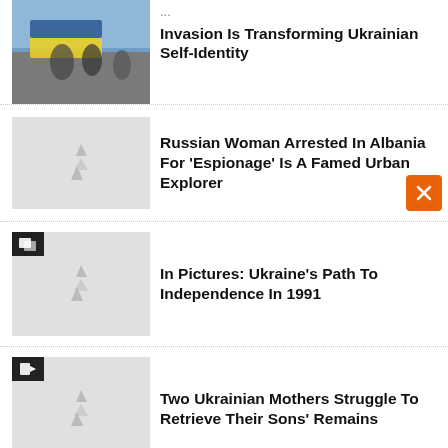[Figure (photo): Photo of people with Ukrainian flag, partially cropped at top]
Invasion Is Transforming Ukrainian Self-Identity
[Figure (illustration): Placeholder thumbnail with RFE/RL logo graphic]
Russian Woman Arrested In Albania For 'Espionage' Is A Famed Urban Explorer
[Figure (photo): Placeholder thumbnail with gallery badge and RFE/RL logo graphic]
In Pictures: Ukraine's Path To Independence In 1991
[Figure (photo): Placeholder thumbnail with video badge and RFE/RL logo graphic]
Two Ukrainian Mothers Struggle To Retrieve Their Sons' Remains
[Figure (photo): Partial placeholder thumbnail at bottom]
The Farda Briefing: Iran's Hard-Line Attempt To Police Social Lif...